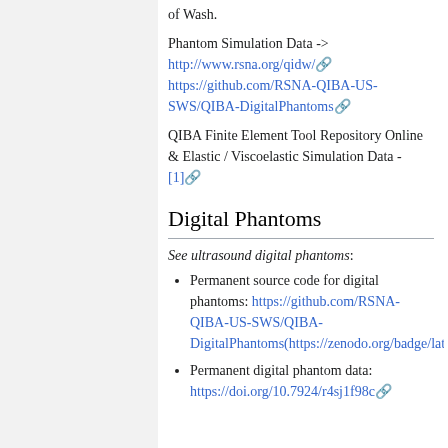of Wash.
Phantom Simulation Data -> http://www.rsna.org/qidw/ https://github.com/RSNA-QIBA-US-SWS/QIBA-DigitalPhantoms
QIBA Finite Element Tool Repository Online & Elastic / Viscoelastic Simulation Data - [1]
Digital Phantoms
See ultrasound digital phantoms:
Permanent source code for digital phantoms: https://github.com/RSNA-QIBA-US-SWS/QIBA-DigitalPhantoms(https://zenodo.org/badge/latestdoi/31222567)
Permanent digital phantom data: https://doi.org/10.7924/r4sj1f98c